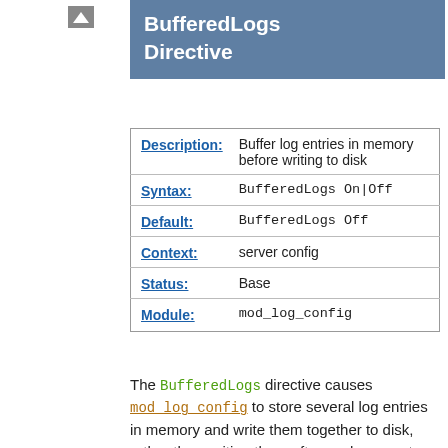[Figure (other): Small arrow/mountain icon in top left area]
BufferedLogs Directive
| Field | Value |
| --- | --- |
| Description: | Buffer log entries in memory before writing to disk |
| Syntax: | BufferedLogs On|Off |
| Default: | BufferedLogs Off |
| Context: | server config |
| Status: | Base |
| Module: | mod_log_config |
The BufferedLogs directive causes mod_log_config to store several log entries in memory and write them together to disk, rather than writing them after each request. On some systems, this may result in more efficient disk access and hence higher performance. It may be set only once for the entire server; it cannot be configured per-virtual-host.